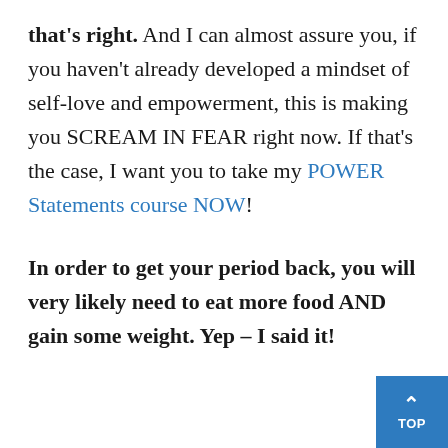that's right. And I can almost assure you, if you haven't already developed a mindset of self-love and empowerment, this is making you SCREAM IN FEAR right now. If that's the case, I want you to take my POWER Statements course NOW!
In order to get your period back, you will very likely need to eat more food AND gain some weight. Yep – I said it!